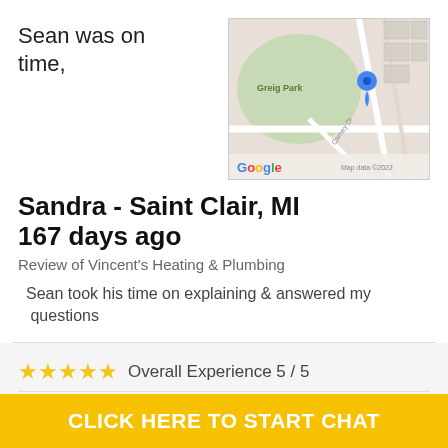Sean was on time,
[Figure (map): Google Maps screenshot showing Greig Park area with a blue location pin marker on a street near Carney Dr. Map data ©2022.]
Sandra - Saint Clair, MI
167 days ago
Review of Vincent's Heating & Plumbing
Sean took his time on explaining & answered my questions
Overall Experience 5 / 5
Quality
CLICK HERE TO START CHAT